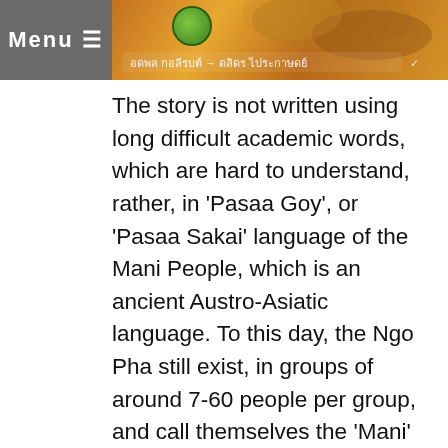[Figure (illustration): Book cover image with Thai text and decorative artwork, partially visible at top of page. Includes a green circle logo element and Thai script text.]
Menu ≡
The story is not written using long difficult academic words, which are hard to understand, rather, in 'Pasaa Goy', or 'Pasaa Sakai' language of the Mani People, which is an ancient Austro-Asiatic language. To this day, the Ngo Pha still exist, in groups of around 7-60 people per group, and call themselves the 'Mani' (also known as Orang Asli, and Goy people), in the Jungles of Malaysia, Thailand, the island of Papua New Guinea, in the Philippines, and in the Andaman islands. They have some similarities with the Aboriginal People of Australia.